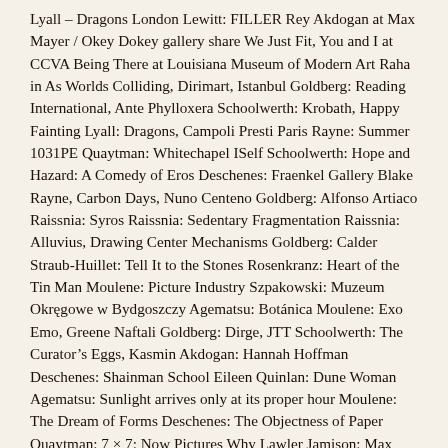Lyall – Dragons London Lewitt: FILLER Rey Akdogan at Max Mayer / Okey Dokey gallery share We Just Fit, You and I at CCVA Being There at Louisiana Museum of Modern Art Raha in As Worlds Colliding, Dirimart, Istanbul Goldberg: Reading International, Ante Phylloxera Schoolwerth: Krobath, Happy Fainting Lyall: Dragons, Campoli Presti Paris Rayne: Summer 1031PE Quaytman: Whitechapel ISelf Schoolwerth: Hope and Hazard: A Comedy of Eros Deschenes: Fraenkel Gallery Blake Rayne, Carbon Days, Nuno Centeno Goldberg: Alfonso Artiaco Raissnia: Syros Raissnia: Sedentary Fragmentation Raissnia: Alluvius, Drawing Center Mechanisms Goldberg: Calder Straub-Huillet: Tell It to the Stones Rosenkranz: Heart of the Tin Man Moulene: Picture Industry Szpakowski: Muzeum Okręgowe w Bydgoszczy Agematsu: Botánica Moulene: Exo Emo, Greene Naftali Goldberg: Dirge, JTT Schoolwerth: The Curator's Eggs, Kasmin Akdogan: Hannah Hoffman Deschenes: Shainman School Eileen Quinlan: Dune Woman Agematsu: Sunlight arrives only at its proper hour Moulene: The Dream of Forms Deschenes: The Objectness of Paper Quaytman: 7 × 7: Now Pictures Why Lawler Jamison: Max Mayer Pumhösl: Meyer Kainer Agematsu: Edward Ressle Gallery Zur Rebschänke: Rochelle Goldberg @ Weiss Falk Quaytman: documenta Kassel Quaytman: documenta Athens Raissnia: Mana Revealed #2: Florian Pumhösl and Paul